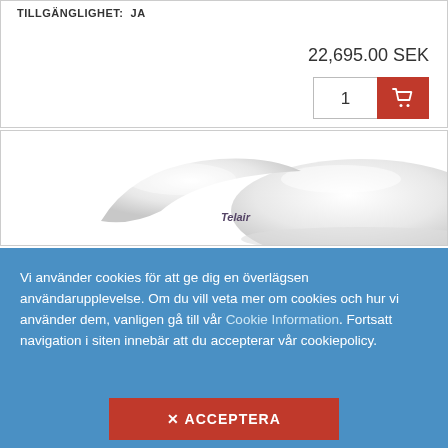TILLGÄNGLIGHET: Ja
22,695.00 SEK
1
[Figure (photo): White dome-shaped Telair satellite antenna product photo on white background]
Vi använder cookies för att ge dig en överlägsen användarupplevelse. Om du vill veta mer om cookies och hur vi använder dem, vanligen gå till vår Cookie Information. Fortsatt navigation i siten innebär att du accepterar vår cookiepolicy.
✕ ACCEPTERA